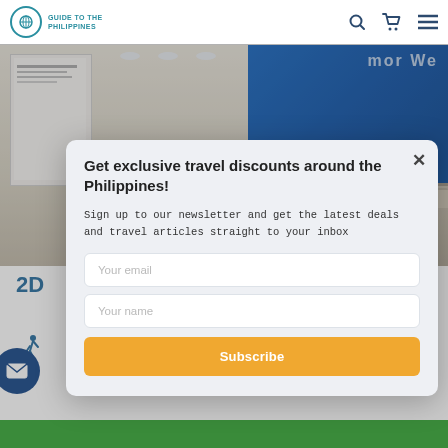GUIDE TO THE PHILIPPINES
[Figure (photo): Interior of a travel or government office with a reception desk, blue accent wall with partial text visible, monitors on the desk, and a whiteboard on the left.]
2D
Get exclusive travel discounts around the Philippines!
Sign up to our newsletter and get the latest deals and travel articles straight to your inbox
Your email
Your name
Subscribe